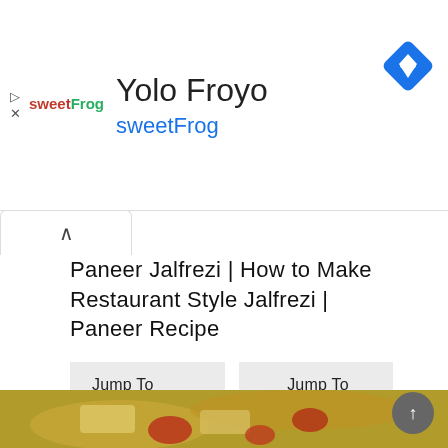[Figure (screenshot): Advertisement banner for sweetFrog frozen yogurt with logo, title 'Yolo Froyo', subtitle 'sweetFrog', and a blue diamond navigation icon on the right]
Paneer Jalfrezi | How to Make Restaurant Style Jalfrezi | Paneer Recipe
Jump To Recipe ↓
▶ Jump To Video
🖨 Print Recipe
[Figure (photo): Close-up photo of Paneer Jalfrezi dish showing paneer cubes with colorful peppers in a spiced sauce]